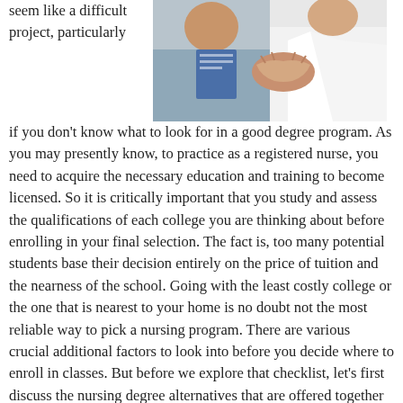[Figure (photo): A healthcare professional in a white coat shaking hands with a patient, viewed close up.]
seem like a difficult project, particularly if you don't know what to look for in a good degree program. As you may presently know, to practice as a registered nurse, you need to acquire the necessary education and training to become licensed. So it is critically important that you study and assess the qualifications of each college you are thinking about before enrolling in your final selection. The fact is, too many potential students base their decision entirely on the price of tuition and the nearness of the school. Going with the least costly college or the one that is nearest to your home is no doubt not the most reliable way to pick a nursing program. There are various crucial additional factors to look into before you decide where to enroll in classes. But before we explore that checklist, let’s first discuss the nursing degree alternatives that are offered together with what the jobs of nurses are in our health system.